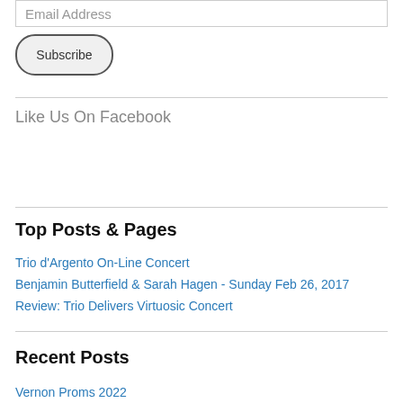Email Address
Subscribe
Like Us On Facebook
Top Posts & Pages
Trio d'Argento On-Line Concert
Benjamin Butterfield & Sarah Hagen - Sunday Feb 26, 2017
Review: Trio Delivers Virtuosic Concert
Recent Posts
Vernon Proms 2022